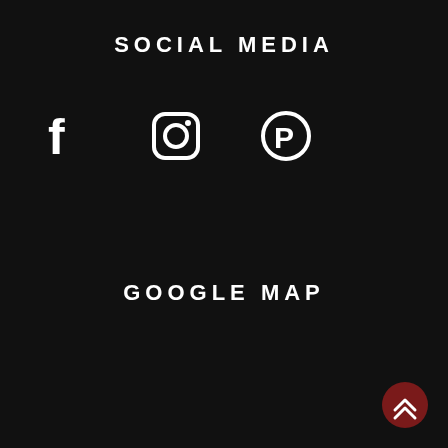SOCIAL MEDIA
[Figure (infographic): Three social media icons: Facebook (f), Instagram (camera), Pinterest (P)]
GOOGLE MAP
[Figure (infographic): Dark red circular scroll-to-top button with double chevron up arrow, positioned in bottom-right corner]